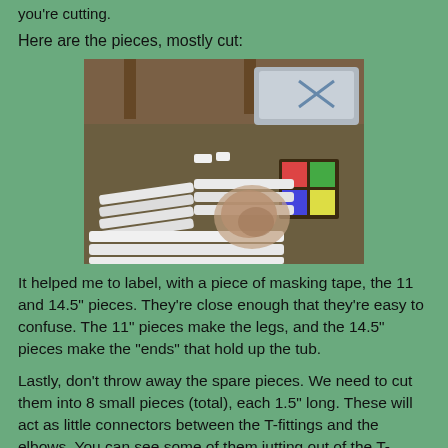you're cutting.
Here are the pieces, mostly cut:
[Figure (photo): Photo of PVC pipe pieces laid out on a carpet, showing cut pipe segments of various lengths, a grey storage tub in the background, and a colorful box. The pipes are arranged in groups showing different cut lengths.]
It helped me to label, with a piece of masking tape, the 11 and 14.5" pieces.  They're close enough that they're easy to confuse.  The 11" pieces make the legs, and the 14.5" pieces make the "ends" that hold up the tub.
Lastly, don't throw away the spare pieces.  We need to cut them into 8 small pieces (total), each 1.5" long.  These will act as little connectors between the T-fittings and the elbows.  You can see some of them jutting out of the T-fittings here, and for the next step, you can